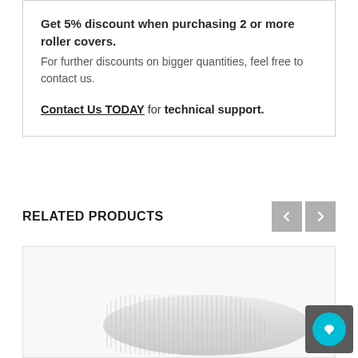Get 5% discount when purchasing 2 or more roller covers. For further discounts on bigger quantities, feel free to contact us.
Contact Us TODAY for technical support.
RELATED PRODUCTS
[Figure (photo): Product image of a roller cover or similar cylindrical product, partially visible at the bottom of the page with a chat support button overlay in the bottom-right corner.]